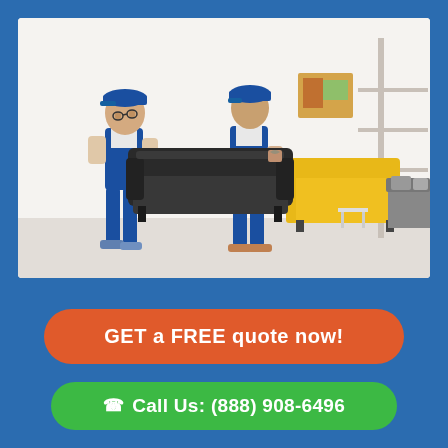[Figure (photo): Two male movers in blue overalls and caps carrying a dark sofa in a bright living room with a yellow couch and grey daybed in the background]
GET a FREE quote now!
Call Us: (888) 908-6496